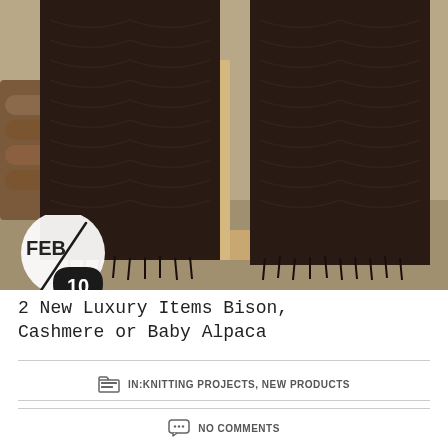[Figure (photo): Dark brown knitted/woven blanket or shawl with fringe, draped over a wooden stand outdoors on a sunny day. Firewood stack visible in background.]
2 New Luxury Items Bison, Cashmere or Baby Alpaca
IN: KNITTING PROJECTS, NEW PRODUCTS
NO COMMENTS